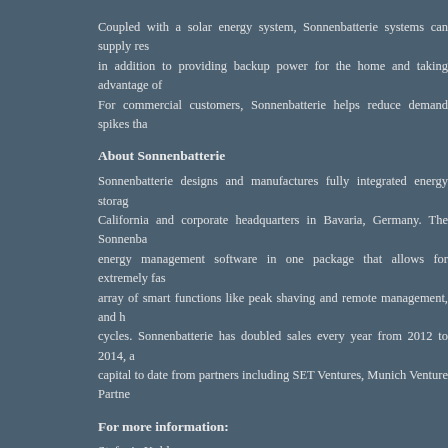Coupled with a solar energy system, Sonnenbatterie systems can supply res in addition to providing backup power for the home and taking advantage of For commercial customers, Sonnenbatterie helps reduce demand spikes tha
About Sonnenbatterie
Sonnenbatterie designs and manufactures fully integrated energy storag California and corporate headquarters in Bavaria, Germany. The Sonnenba energy management software in one package that allows for extremely fas array of smart functions like peak shaving and remote management, and h cycles. Sonnenbatterie has doubled sales every year from 2012 to 2014, a capital to date from partners including SET Ventures, Munich Venture Partne
For more information:
Stefanie Kohl
Sonnenbatterie PR
Stefanie.k@sonnen-batterie.com
201-895-1609
~have a bright and sunny day~
Gathered, written, and posted by sunisthefuture-Susan Sun Nunamaker
Any comments and suggestions are welcomed at sunisthefuture@gmail.com